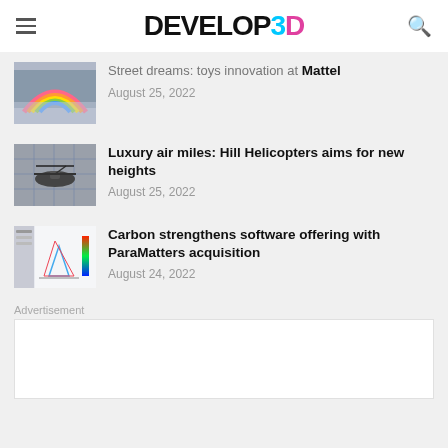DEVELOP3D
[Figure (screenshot): Partially visible thumbnail of colorful toy/rainbow product]
Street dreams: toys innovation at Mattel
August 25, 2022
[Figure (photo): Thumbnail of Hill Helicopters helicopter in hangar]
Luxury air miles: Hill Helicopters aims for new heights
August 25, 2022
[Figure (screenshot): Thumbnail of CAD/engineering software showing structural topology optimization]
Carbon strengthens software offering with ParaMatters acquisition
August 24, 2022
Advertisement